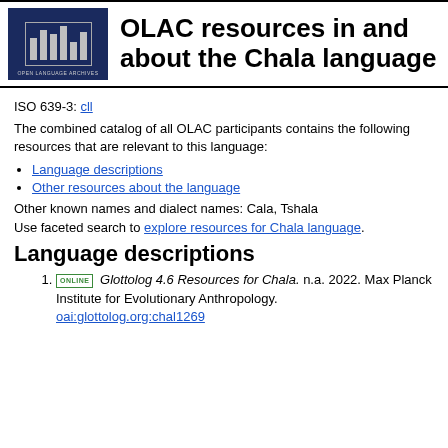[Figure (logo): OLAC Open Language Archives logo — dark blue square with stylized bar chart and gray border, text 'OPEN LANGUAGE ARCHIVES' below]
OLAC resources in and about the Chala language
ISO 639-3: cll
The combined catalog of all OLAC participants contains the following resources that are relevant to this language:
Language descriptions
Other resources about the language
Other known names and dialect names: Cala, Tshala
Use faceted search to explore resources for Chala language.
Language descriptions
ONLINE Glottolog 4.6 Resources for Chala. n.a. 2022. Max Planck Institute for Evolutionary Anthropology. oai:glottolog.org:chal1269